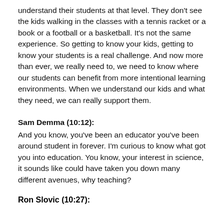understand their students at that level. They don't see the kids walking in the classes with a tennis racket or a book or a football or a basketball. It's not the same experience. So getting to know your kids, getting to know your students is a real challenge. And now more than ever, we really need to, we need to know where our students can benefit from more intentional learning environments. When we understand our kids and what they need, we can really support them.
Sam Demma (10:12):
And you know, you've been an educator you've been around student in forever. I'm curious to know what got you into education. You know, your interest in science, it sounds like could have taken you down many different avenues, why teaching?
Ron Slovic (10:27):